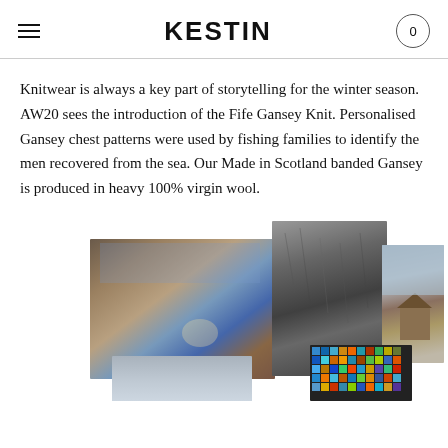KESTIN | Navigation menu | Cart: 0
Knitwear is always a key part of storytelling for the winter season. AW20 sees the introduction of the Fife Gansey Knit. Personalised Gansey chest patterns were used by fishing families to identify the men recovered from the sea. Our Made in Scotland banded Gansey is produced in heavy 100% virgin wool.
[Figure (photo): Collage of five photographs: a painterly landscape with blue and earth tones, a black-and-white rocky cliff face, a wooden hut on a flat coastal landscape, a grey overcast sky scene, and a colourful mosaic or textile pattern.]